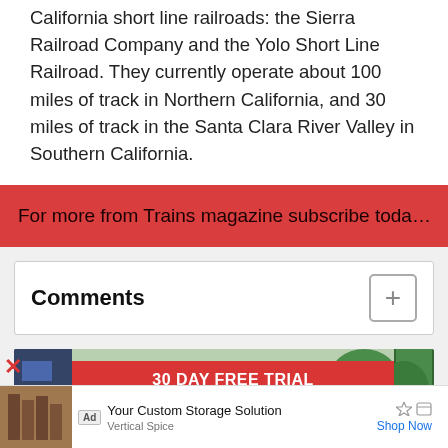California short line railroads: the Sierra Railroad Company and the Yolo Short Line Railroad. They currently operate about 100 miles of track in Northern California, and 30 miles of track in the Santa Clara River Valley in Southern California.
For more from Trains magazine subscribe toda…
Comments
[Figure (infographic): trains.com advertisement with '30 DAY FREE TRIAL' red banner and trains.com logo]
[Figure (infographic): Bottom advertisement bar: Ad label, storage shelves image, 'Your Custom Storage Solution' by Vertical Spice, Shop Now link]